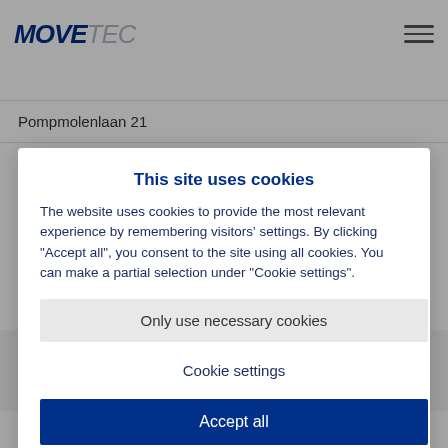MOVETEC
Pompmolenlaan 21
This site uses cookies
The website uses cookies to provide the most relevant experience by remembering visitors' settings. By clicking "Accept all", you consent to the site using all cookies. You can make a partial selection under "Cookie settings".
Only use necessary cookies
Cookie settings
Accept all
Read more
Tlf.: +31 (0) 348 495 15
Email: info@rotero.com